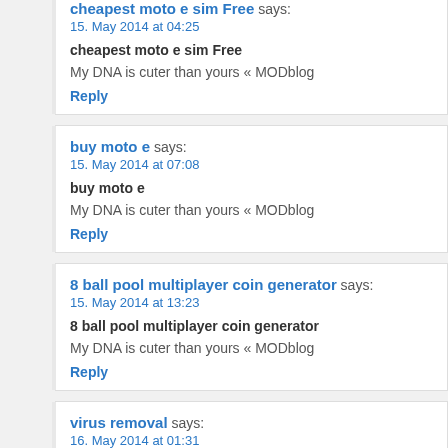cheapest moto e sim Free says: 15. May 2014 at 04:25
cheapest moto e sim Free
My DNA is cuter than yours « MODblog
Reply
buy moto e says: 15. May 2014 at 07:08
buy moto e
My DNA is cuter than yours « MODblog
Reply
8 ball pool multiplayer coin generator says: 15. May 2014 at 13:23
8 ball pool multiplayer coin generator
My DNA is cuter than yours « MODblog
Reply
virus removal says: 16. May 2014 at 01:31
virus removal